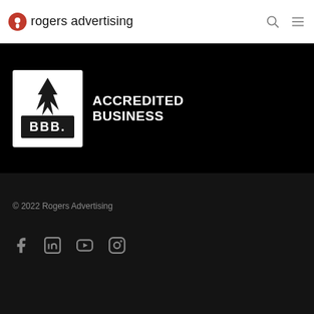rogers advertising
[Figure (logo): BBB Accredited Business badge on black background]
ACCREDITED BUSINESS
© 2022 Rogers Advertising
[Figure (infographic): Social media icons: Facebook, LinkedIn, YouTube, Instagram]